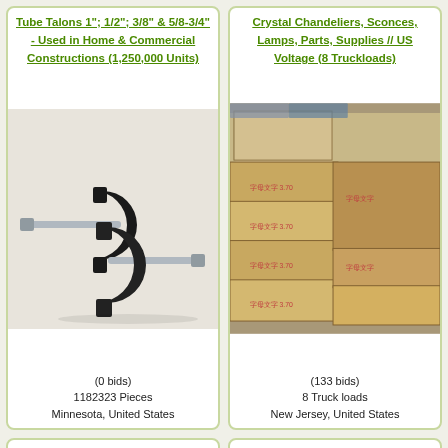Tube Talons 1"; 1/2"; 3/8" & 5/8-3/4" - Used in Home & Commercial Constructions (1,250,000 Units)
[Figure (photo): Two black plastic tube talon/cable clips with metal nail fasteners on a light background]
(0 bids)
1182323 Pieces
Minnesota, United States
Crystal Chandeliers, Sconces, Lamps, Parts, Supplies // US Voltage (8 Truckloads)
[Figure (photo): Stacked cardboard boxes with Chinese labeling in a warehouse]
(133 bids)
8 Truck loads
New Jersey, United States
Perma-Boot Roofing Pipe Boots (2,353 Pieces)
Roofing Supplies
Electrical and Mechanical Parts (1 lot)
Hand Tools